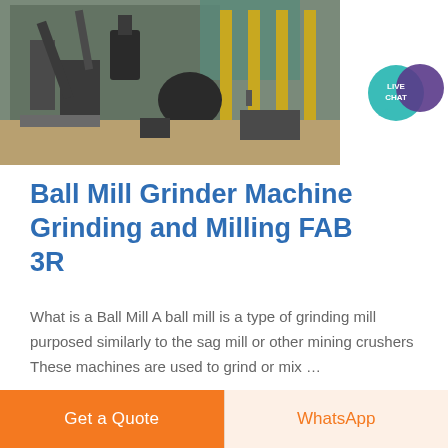[Figure (photo): Industrial ball mill grinding facility with large machinery, yellow pillars, pipes, and equipment on a construction/industrial site]
[Figure (infographic): Live Chat speech bubble icon with teal circle and purple chat bubble]
Ball Mill Grinder Machine Grinding and Milling FAB 3R
What is a Ball Mill A ball mill is a type of grinding mill purposed similarly to the sag mill or other mining crushers These machines are used to grind or mix …
Get a Quote
WhatsApp